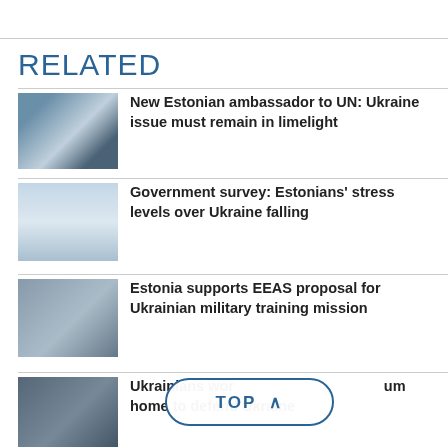RELATED
[Figure (photo): Two men shaking hands in front of a UN flag backdrop]
New Estonian ambassador to UN: Ukraine issue must remain in limelight
[Figure (photo): Person in traditional white Estonian folk costume with black belt]
Government survey: Estonians' stress levels over Ukraine falling
[Figure (photo): Group of men in suits walking outdoors on a waterfront]
Estonia supports EEAS proposal for Ukrainian military training mission
[Figure (photo): People near a building or vehicle in an urban setting]
Ukrainians working abroad return home to defend Ukraine